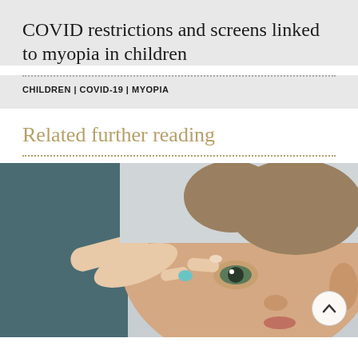COVID restrictions and screens linked to myopia in children
CHILDREN | COVID-19 | MYOPIA
Related further reading
[Figure (photo): Close-up of a young boy having a contact lens or eye drop applied to his eye by an adult's hands. The boy has short brown hair and green eyes. Medical/optometry context.]